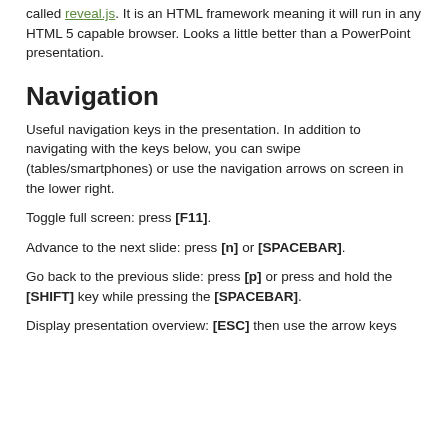called reveal.js. It is an HTML framework meaning it will run in any HTML 5 capable browser. Looks a little better than a PowerPoint presentation.
Navigation
Useful navigation keys in the presentation. In addition to navigating with the keys below, you can swipe (tables/smartphones) or use the navigation arrows on screen in the lower right.
Toggle full screen: press [F11].
Advance to the next slide: press [n] or [SPACEBAR].
Go back to the previous slide: press [p] or press and hold the [SHIFT] key while pressing the [SPACEBAR].
Display presentation overview: [ESC] then use the arrow keys